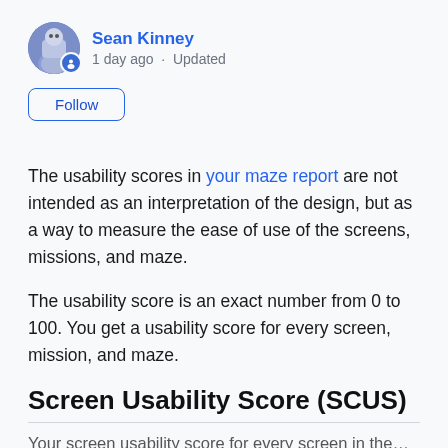Sean Kinney · 1 day ago · Updated
Follow
The usability scores in your maze report are not intended as an interpretation of the design, but as a way to measure the ease of use of the screens, missions, and maze.
The usability score is an exact number from 0 to 100. You get a usability score for every screen, mission, and maze.
Screen Usability Score (SCUS)
Your screen usability score for every screen in the…